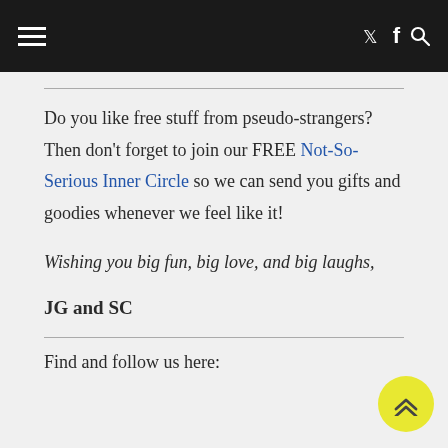≡  𝕏 f 🔍
Do you like free stuff from pseudo-strangers?  Then don't forget to join our FREE Not-So-Serious Inner Circle so we can send you gifts and goodies whenever we feel like it!
Wishing you big fun, big love, and big laughs,
JG and SC
Find and follow us here: